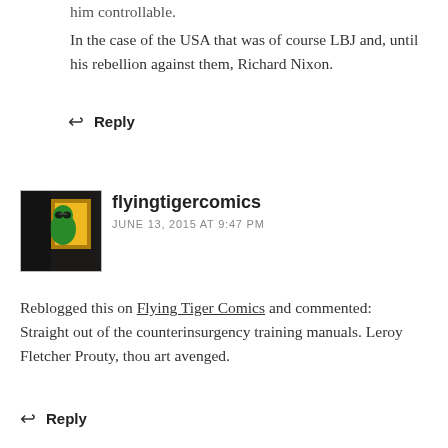him controllable.
In the case of the USA that was of course LBJ and, until his rebellion against them, Richard Nixon.
↩ Reply
flyingtigercomics
JUNE 13, 2015 AT 9:47 PM
Reblogged this on Flying Tiger Comics and commented:
Straight out of the counterinsurgency training manuals. Leroy Fletcher Prouty, thou art avenged.
↩ Reply